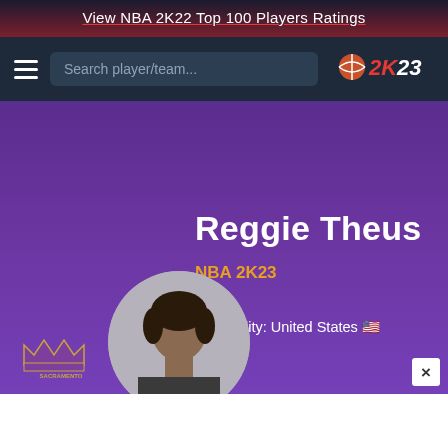View NBA 2K22 Top 100 Players Ratings
[Figure (screenshot): NBA 2K23 website navigation bar with hamburger menu, search box, and NBA 2K23 logo]
Reggie Theus
NBA 2K23
Nationality: United States 🇺🇸
[Figure (photo): Circular headshot of Reggie Theus with Sacramento Kings logo below]
We Turn Uh-Ohs Into Oh Yeahs
Maaco Auto Body Shop & Painting